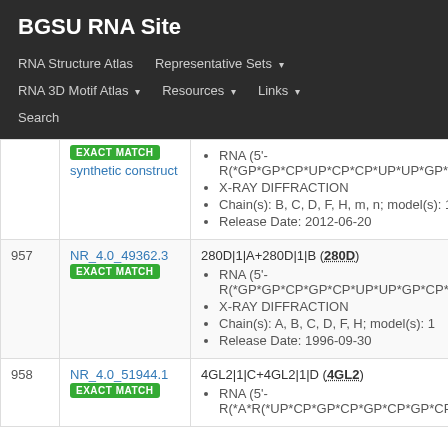BGSU RNA Site
RNA Structure Atlas | Representative Sets | RNA 3D Motif Atlas | Resources | Links | Search
| # | ID | Details |
| --- | --- | --- |
|  | EXACT MATCH / synthetic construct | RNA (5'- R(*GP*GP*CP*UP*CP*CP*UP*UP*GP*G... • X-RAY DIFFRACTION • Chain(s): B, C, D, F, H, m, n; model(s): 1 • Release Date: 2012-06-20 |
| 957 | NR_4.0_49362.3 EXACT MATCH | 280D|1|A+280D|1|B (280D) • RNA (5'- R(*GP*GP*CP*GP*CP*UP*UP*GP*CP*G... • X-RAY DIFFRACTION • Chain(s): A, B, C, D, F, H; model(s): 1 • Release Date: 1996-09-30 |
| 958 | NR_4.0_51944.1 EXACT MATCH | 4GL2|1|C+4GL2|1|D (4GL2) • RNA (5'-  R(*A*R(*UP*CP*GP*CP*GP*CP*GP*CP*G... |